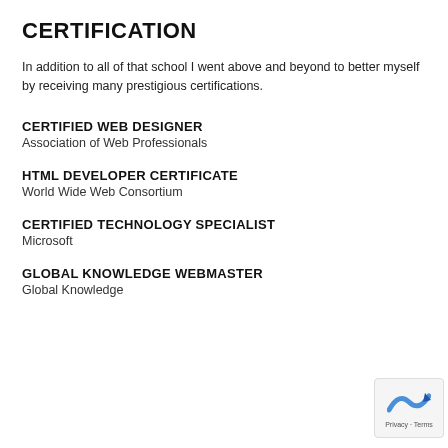CERTIFICATION
In addition to all of that school I went above and beyond to better myself by receiving many prestigious certifications.
CERTIFIED WEB DESIGNER
Association of Web Professionals
HTML DEVELOPER CERTIFICATE
World Wide Web Consortium
CERTIFIED TECHNOLOGY SPECIALIST
Microsoft
GLOBAL KNOWLEDGE WEBMASTER
Global Knowledge